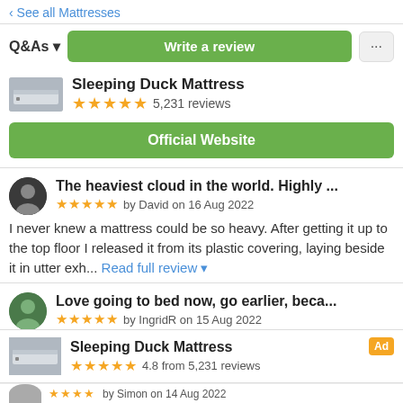‹ See all Mattresses
Q&As▾
Write a review
Sleeping Duck Mattress
★★★★★ 5,231 reviews
Official Website
The heaviest cloud in the world. Highly ...
★★★★★ by David on 16 Aug 2022
I never knew a mattress could be so heavy. After getting it up to the top floor I released it from its plastic covering, laying beside it in utter exh... Read full review▾
Love going to bed now, go earlier, beca...
★★★★★ by IngridR on 15 Aug 2022
It's soft, like a cloud, but supportive. Warm and cozy. Kept it's shape really well and is so good for both side sleeping
Sleeping Duck Mattress
★★★★★ 4.8 from 5,231 reviews
Ad
by Simon on 14 Aug 2022